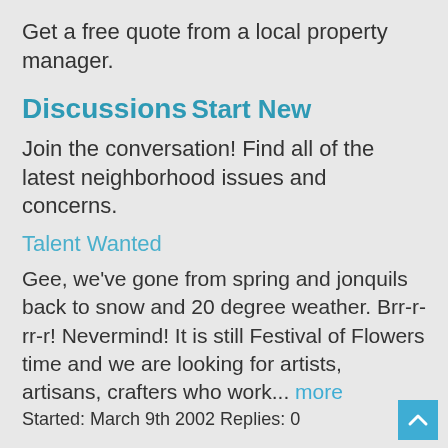Get a free quote from a local property manager.
Discussions
Start New
Join the conversation! Find all of the latest neighborhood issues and concerns.
Talent Wanted
Gee, we've gone from spring and jonquils back to snow and 20 degree weather. Brr-r-rr-r! Nevermind! It is still Festival of Flowers time and we are looking for artists, artisans, crafters who work... more
Started: March 9th 2002 Replies: 0